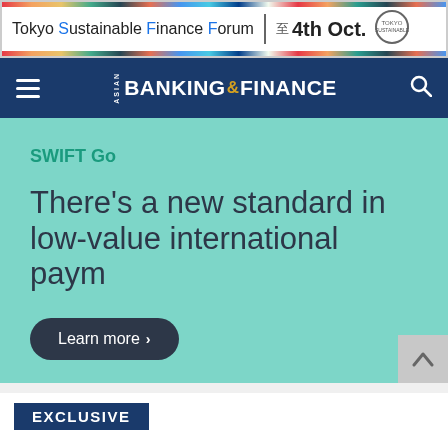[Figure (screenshot): Tokyo Sustainable Finance Forum - 4th Oct. advertisement banner with rainbow colored border]
Asian Banking & Finance
[Figure (screenshot): SWIFT Go hero banner on teal/mint background. Tag: SWIFT Go. Title: There's a new standard in low-value international paym... Learn more button.]
EXCLUSIVE